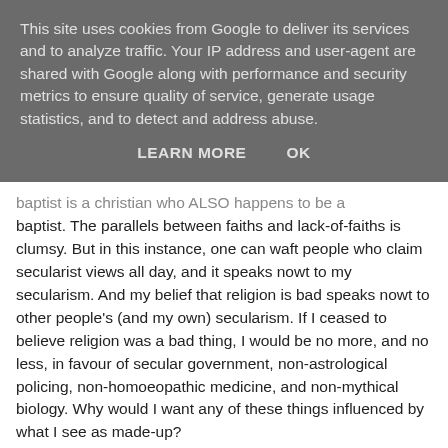This site uses cookies from Google to deliver its services and to analyze traffic. Your IP address and user-agent are shared with Google along with performance and security metrics to ensure quality of service, generate usage statistics, and to detect and address abuse.
LEARN MORE   OK
baptist is a christian who ALSO happens to be a baptist. The parallels between faiths and lack-of-faiths is clumsy. But in this instance, one can waft people who claim secularist views all day, and it speaks nowt to my secularism. And my belief that religion is bad speaks nowt to other people's (and my own) secularism. If I ceased to believe religion was a bad thing, I would be no more, and no less, in favour of secular government, non-astrological policing, non-homoeopathic medicine, and non-mythical biology. Why would I want any of these things influenced by what I see as made-up?
8 August at 18:17 · Like